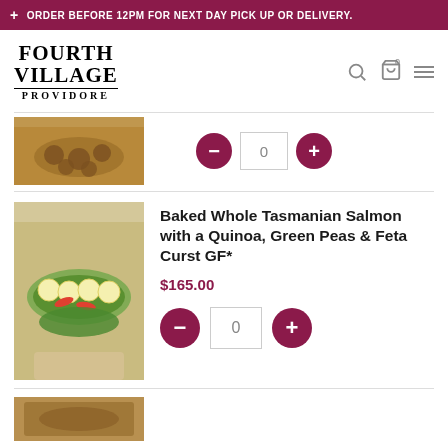+ ORDER BEFORE 12PM FOR NEXT DAY PICK UP OR DELIVERY.
[Figure (logo): Fourth Village Providore logo — bold serif text, 'FOURTH VILLAGE' stacked above 'PROVIDORE' with underline rule]
[Figure (photo): Partial view of a food dish — roasted items in a golden dish, cropped at top]
[Figure (photo): Baked whole Tasmanian salmon with quinoa, green peas and feta crust — garnished with lemon slices, chili and herbs]
Baked Whole Tasmanian Salmon with a Quinoa, Green Peas & Feta Curst GF*
$165.00
[Figure (photo): Bottom partially visible food product photo]